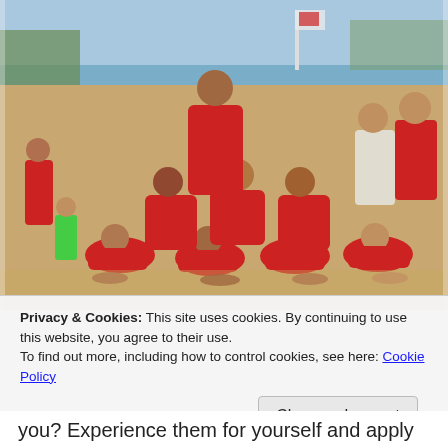[Figure (photo): Group of young people in red shirts forming a human pyramid on a sandy beach. Several onlookers in background. Sandy beach with water and trees visible in the background.]
Privacy & Cookies: This site uses cookies. By continuing to use this website, you agree to their use.
To find out more, including how to control cookies, see here: Cookie Policy
Close and accept
you? Experience them for yourself and apply